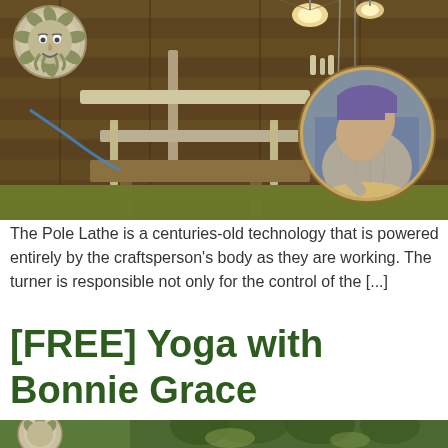[Figure (photo): A wooden barn interior showing a pole lathe setup with metal and wooden components, lit by overhead lights. A circular inset photo shows a craftsperson wearing a purple knit hat and glasses, working on a piece of wood. An ornamental green-man face medallion is visible in the upper left. A dark olive-green banner runs across the bottom of the main photo.]
The Pole Lathe is a centuries-old technology that is powered entirely by the craftsperson's body as they are working. The turner is responsible not only for the control of the [...]
[FREE] Yoga with Bonnie Grace
[Figure (photo): Bottom portion showing an ornamental green-man face medallion on the left and a partial outdoor nature photo on the right with trees, at the very bottom of the page.]